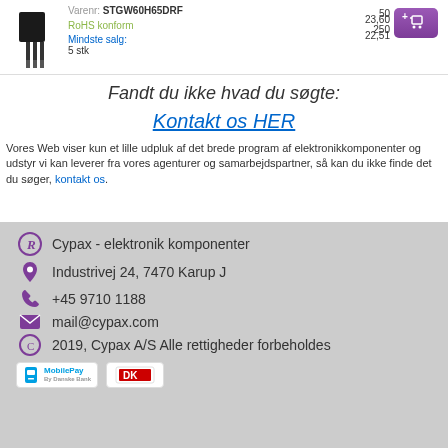[Figure (photo): Product image of electronic component (transistor/IGBT) and product info row with part number STGW60H65DRF, RoHS konform, Mindste salg 5 stk, prices 50 pcs 23.60 and 250 pcs 22.51, with purple add-to-cart button]
Fandt du ikke hvad du søgte:
Kontakt os HER
Vores Web viser kun et lille udpluk af det brede program af elektronikkomponenter og udstyr vi kan leverer fra vores agenturer og samarbejdspartner, så kan du ikke finde det du søger, kontakt os.
Cypax - elektronik komponenter
Industrivej 24, 7470 Karup J
+45 9710 1188
mail@cypax.com
2019, Cypax A/S Alle rettigheder forbeholdes